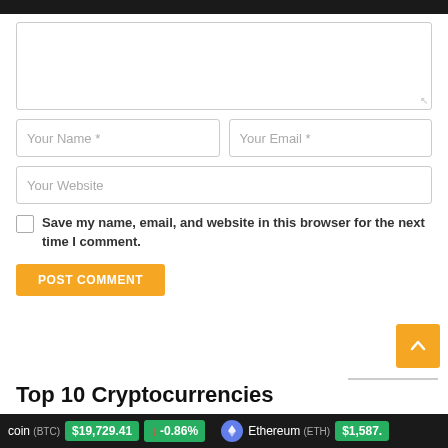Your Name *
Your Email *
Your Website
Save my name, email, and website in this browser for the next time I comment.
POST COMMENT
Top 10 Cryptocurrencies
coin (BTC) $19,729.41 ↓ -0.86%   Ethereum (ETH) $1,587.